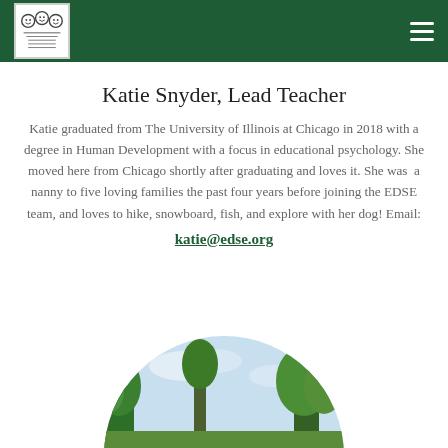Episcopal Day School of Georgiana [logo] ≡
Katie Snyder, Lead Teacher
Katie graduated from The University of Illinois at Chicago in 2018 with a degree in Human Development with a focus in educational psychology. She moved here from Chicago shortly after graduating and loves it. She was a nanny to five loving families the past four years before joining the EDSE team, and loves to hike, snowboard, fish, and explore with her dog! Email: katie@edse.org
[Figure (photo): Circular cropped outdoor photo showing trees and sky, partially visible at bottom of page]